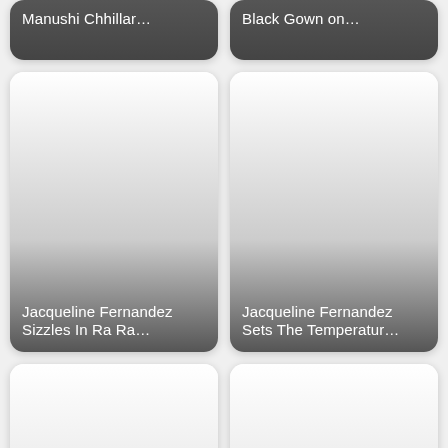[Figure (screenshot): Card thumbnail partially visible at top with dark overlay, text: Manushi Chhillar...]
[Figure (screenshot): Card thumbnail partially visible at top with dark overlay, text: Black Gown on...]
[Figure (screenshot): Card with gradient overlay and text: Jacqueline Fernandez Sizzles In Ra Ra...]
[Figure (screenshot): Card with gradient overlay and text: Jacqueline Fernandez Sets The Temperatur...]
[Figure (screenshot): Card with white/light gradient, bottom row left, partially visible]
[Figure (screenshot): Card with white/light gradient, bottom row right, partially visible]